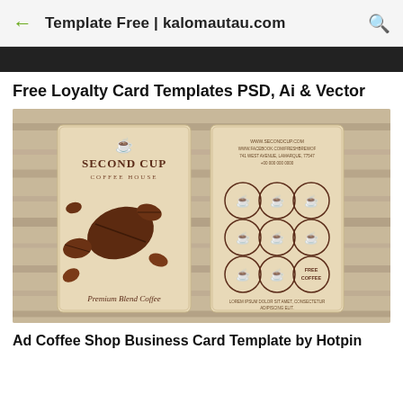Template Free | kalomautau.com
Free Loyalty Card Templates PSD, Ai & Vector
[Figure (photo): Coffee shop loyalty card template showing two cards on a wooden background. Left card: 'Second Cup Coffee House' with coffee beans and text 'Premium Blend Coffee'. Right card: loyalty stamp card with 9 coffee cup circles (8 stamps + 1 'Free Coffee') and Lorem Ipsum contact details.]
Ad Coffee Shop Business Card Template by Hotpin